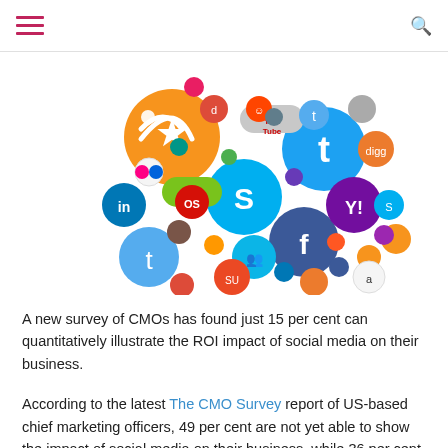Navigation header with hamburger menu and search icon
[Figure (illustration): A speech bubble shape made up of many colorful social media platform icons (RSS, Twitter, Facebook, YouTube, LinkedIn, Skype, Reddit, Yahoo, Digg, and many others) arranged to form a cloud/speech bubble shape on a white background.]
A new survey of CMOs has found just 15 per cent can quantitatively illustrate the ROI impact of social media on their business.
According to the latest The CMO Survey report of US-based chief marketing officers, 49 per cent are not yet able to show the impact of social media on their business, while 36 per cent